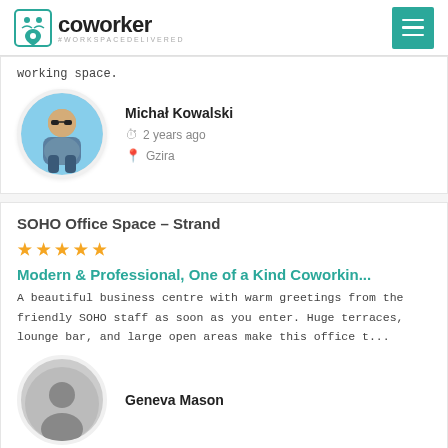coworker #WORKSPACEDELIVERED
working space.
Michał Kowalski
2 years ago
Gzira
SOHO Office Space – Strand
[Figure (other): 5 orange stars rating]
Modern & Professional, One of a Kind Coworkin...
A beautiful business centre with warm greetings from the friendly SOHO staff as soon as you enter. Huge terraces, lounge bar, and large open areas make this office t...
Geneva Mason